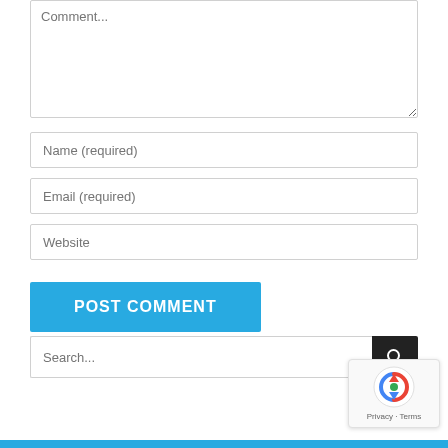Comment...
Name (required)
Email (required)
Website
POST COMMENT
Search...